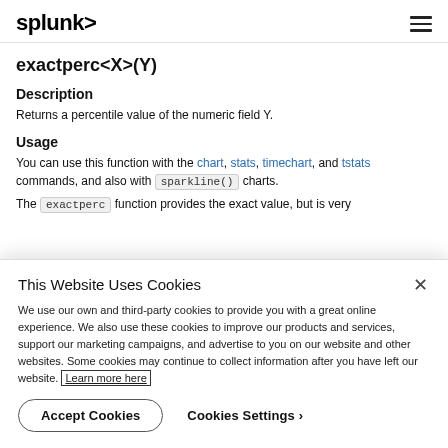splunk>
exactperc<X>(Y)
Description
Returns a percentile value of the numeric field Y.
Usage
You can use this function with the chart, stats, timechart, and tstats commands, and also with sparkline() charts.
The exactperc function provides the exact value, but is very
This Website Uses Cookies
We use our own and third-party cookies to provide you with a great online experience. We also use these cookies to improve our products and services, support our marketing campaigns, and advertise to you on our website and other websites. Some cookies may continue to collect information after you have left our website. Learn more here
Accept Cookies    Cookies Settings ›